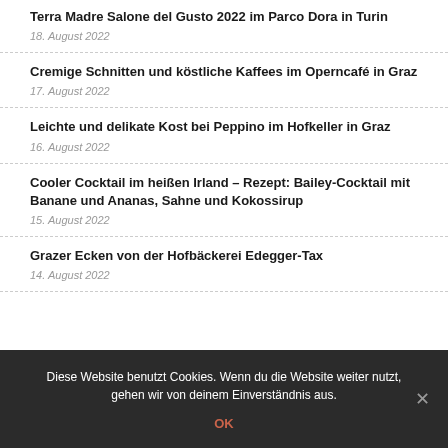Terra Madre Salone del Gusto 2022 im Parco Dora in Turin
18. August 2022
Cremige Schnitten und köstliche Kaffees im Operncafé in Graz
17. August 2022
Leichte und delikate Kost bei Peppino im Hofkeller in Graz
16. August 2022
Cooler Cocktail im heißen Irland – Rezept: Bailey-Cocktail mit Banane und Ananas, Sahne und Kokossirup
15. August 2022
Grazer Ecken von der Hofbäckerei Edegger-Tax
14. August 2022
Diese Website benutzt Cookies. Wenn du die Website weiter nutzt, gehen wir von deinem Einverständnis aus.
OK